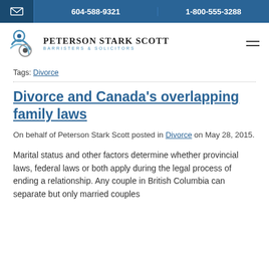604-588-9321 | 1-800-555-3288
[Figure (logo): Peterson Stark Scott Barristers & Solicitors logo with circular blue graphic]
Tags: Divorce
Divorce and Canada's overlapping family laws
On behalf of Peterson Stark Scott posted in Divorce on May 28, 2015.
Marital status and other factors determine whether provincial laws, federal laws or both apply during the legal process of ending a relationship. Any couple in British Columbia can separate but only married couples